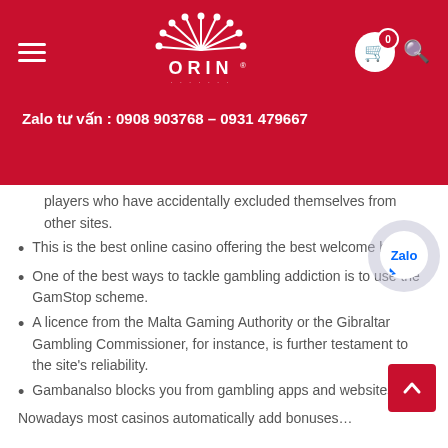[Figure (logo): ORIN brand logo with decorative radiating lines above the text, white on red background]
Zalo tư vấn : 0908 903768 – 0931 479667
players who have accidentally excluded themselves from other sites.
This is the best online casino offering the best welcome bonus.
One of the best ways to tackle gambling addiction is to use the GamStop scheme.
A licence from the Malta Gaming Authority or the Gibraltar Gambling Commissioner, for instance, is further testament to the site's reliability.
Gambanalso blocks you from gambling apps and websites.
Nowadays most casinos automatically add bonuses…